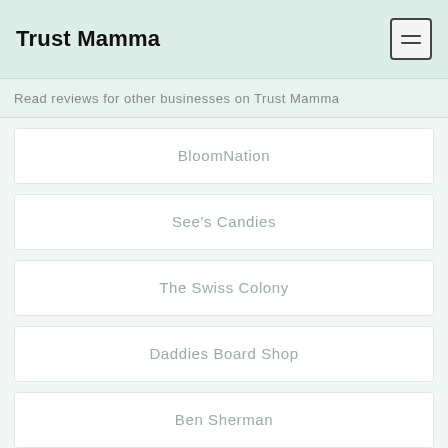Trust Mamma
Read reviews for other businesses on Trust Mamma
BloomNation
See's Candies
The Swiss Colony
Daddies Board Shop
Ben Sherman
Carvel
Harris Teeter
Accor Hotels